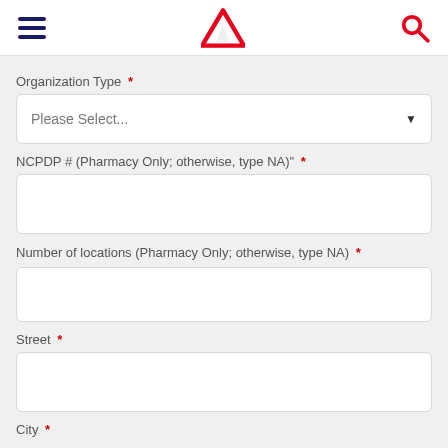Navigation header with hamburger menu, triangle logo, and search icon
Organization Type *
Please Select...
NCPDP # (Pharmacy Only; otherwise, type NA)" *
Number of locations (Pharmacy Only; otherwise, type NA) *
Street *
City *